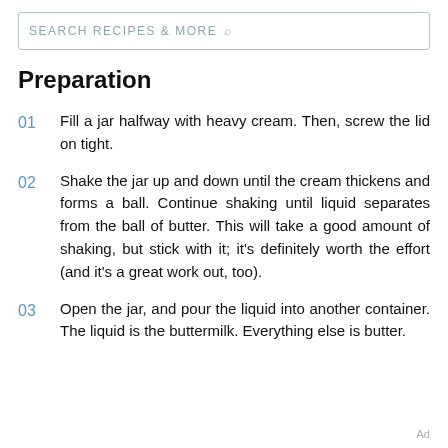SEARCH RECIPES & MORE
Preparation
01  Fill a jar halfway with heavy cream. Then, screw the lid on tight.
02  Shake the jar up and down until the cream thickens and forms a ball. Continue shaking until liquid separates from the ball of butter. This will take a good amount of shaking, but stick with it; it's definitely worth the effort (and it's a great work out, too).
03  Open the jar, and pour the liquid into another container. The liquid is the buttermilk. Everything else is butter.